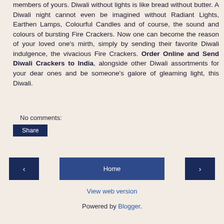members of yours. Diwali without lights is like bread without butter. A Diwali night cannot even be imagined without Radiant Lights, Earthen Lamps, Colourful Candles and of course, the sound and colours of bursting Fire Crackers. Now one can become the reason of your loved one's mirth, simply by sending their favorite Diwali indulgence, the vivacious Fire Crackers. Order Online and Send Diwali Crackers to India, alongside other Diwali assortments for your dear ones and be someone's galore of gleaming light, this Diwali.
No comments:
Share
‹
Home
›
View web version
Powered by Blogger.